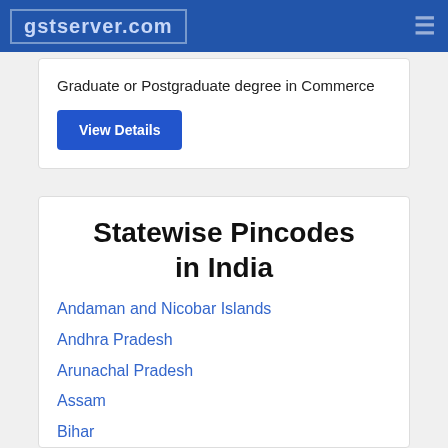gstserver.com
Graduate or Postgraduate degree in Commerce
View Details
Statewise Pincodes in India
Andaman and Nicobar Islands
Andhra Pradesh
Arunachal Pradesh
Assam
Bihar